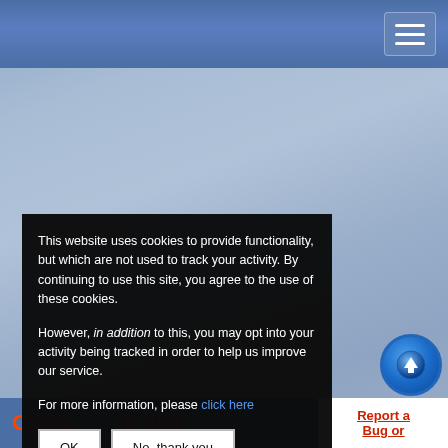[Figure (screenshot): Blue navigation header bar with hamburger menu button (three horizontal white lines) in top-right corner]
[Figure (photo): Blue-gray sky texture background filling the main page area]
This website uses cookies to provide functionality, but which are not used to track your activity. By continuing to use this site, you agree to the use of these cookies.

However, in addition to this, you may opt into your activity being tracked in order to help us improve our service.

For more information, please click here
OK
No, thank you
Report a Bug or
Open...   to link